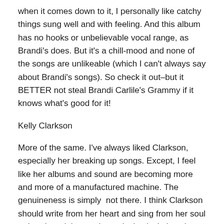when it comes down to it, I personally like catchy things sung well and with feeling.  And this album has no hooks or unbelievable vocal range, as Brandi's does.  But it's a chill-mood and none of the songs are unlikeable (which I can't always say about Brandi's songs).  So check it out–but it BETTER not steal Brandi Carlile's Grammy if it knows what's good for it!
Kelly Clarkson
More of the same.  I've always liked Clarkson, especially her breaking up songs.  Except, I feel like her albums and sound are becoming more and more of a manufactured machine.  The genuineness is simply  not there.  I think Clarkson should write from her heart and sing from her soul rather then doing mathematical calculations in trying to secure top chart numbers and album sales.  I want to